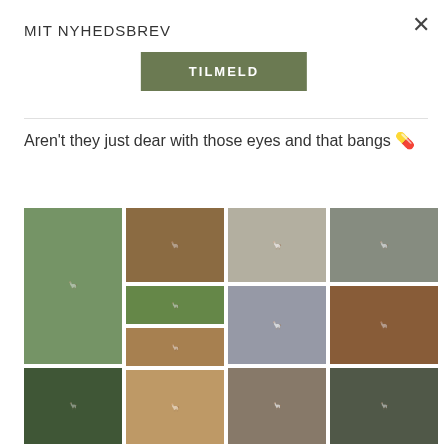MIT NYHEDSBREV
TILMELD
Aren't they just dear with those eyes and that bangs 🖤
[Figure (photo): Grid of alpaca/llama photographs showing various alpacas and llamas in close-up and full-body shots, on grass and natural backgrounds.]